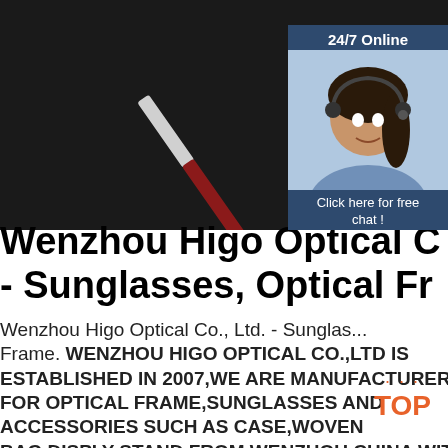[Figure (photo): Product photo of eyeglasses arm/temple on dark background, with a chat widget overlay showing a female customer service agent with headset, '24/7 Online' label, 'Click here for free chat!' text, and orange QUOTATION button]
Wenzhou Higo Optical C... - Sunglasses, Optical Fr...
Wenzhou Higo Optical Co., Ltd. - Sunglas... Frame. WENZHOU HIGO OPTICAL CO.,LTD IS ESTABLISHED IN 2007,WE ARE MANUFACTURER FOR OPTICAL FRAME,SUNGLASSES AND ACCESSORIES SUCH AS CASE,WOVEN BAG,DISPLY STAND FROM WENZHOU CHINA WITH